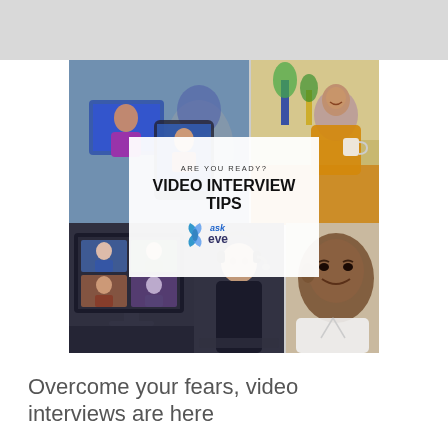[Figure (photo): Collage of video interview scenes: top-left shows a man using a tablet for a video call with a woman on screen; top-right shows a smiling woman in a yellow outfit holding a mug; bottom-left shows a multi-person video call on a desktop screen; bottom-center shows a woman with a headset at a computer; bottom-right shows a smiling man in professional attire. A white overlay card in the center reads 'ARE YOU READY? VIDEO INTERVIEW TIPS' with the ask eve logo.]
Overcome your fears, video interviews are here